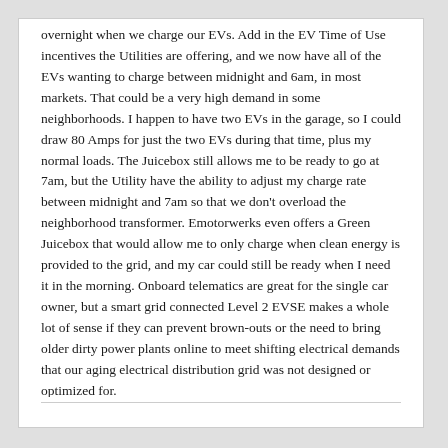overnight when we charge our EVs. Add in the EV Time of Use incentives the Utilities are offering, and we now have all of the EVs wanting to charge between midnight and 6am, in most markets. That could be a very high demand in some neighborhoods. I happen to have two EVs in the garage, so I could draw 80 Amps for just the two EVs during that time, plus my normal loads. The Juicebox still allows me to be ready to go at 7am, but the Utility have the ability to adjust my charge rate between midnight and 7am so that we don't overload the neighborhood transformer. Emotorwerks even offers a Green Juicebox that would allow me to only charge when clean energy is provided to the grid, and my car could still be ready when I need it in the morning. Onboard telematics are great for the single car owner, but a smart grid connected Level 2 EVSE makes a whole lot of sense if they can prevent brown-outs or the need to bring older dirty power plants online to meet shifting electrical demands that our aging electrical distribution grid was not designed or optimized for.